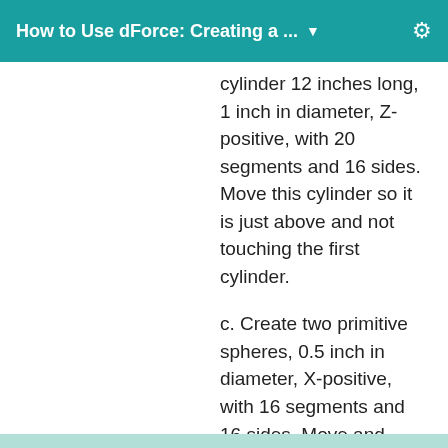How to Use dForce: Creating a ...
cylinder 12 inches long, 1 inch in diameter, Z-positive, with 20 segments and 16 sides. Move this cylinder so it is just above and not touching the first cylinder.
c. Create two primitive spheres, 0.5 inch in diameter, X-positive, with 16 segments and 16 sides. Move and embed one sphere on either end of the long cylinder.  Do not parent the cylinder to the spheres.
d. Your scene should look something like this: